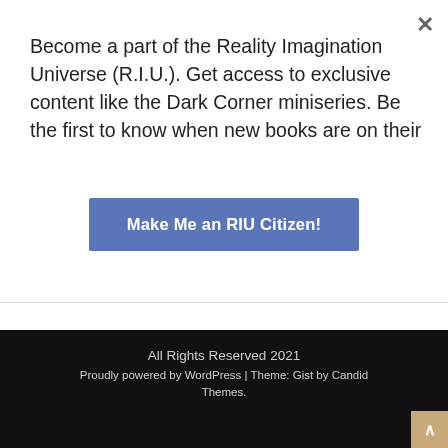Become a part of the Reality Imagination Universe (R.I.U.). Get access to exclusive content like the Dark Corner miniseries. Be the first to know when new books are on their
Make Me an RIU Citizen!
» June 2013
All Rights Reserved 2021
Proudly powered by WordPress | Theme: Gist by Candid Themes.